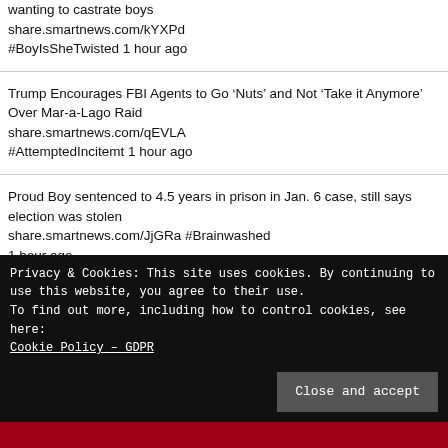wanting to castrate boys share.smartnews.com/kYXPd #BoyIsSheTwisted 1 hour ago
Trump Encourages FBI Agents to Go ‘Nuts’ and Not ‘Take it Anymore’ Over Mar-a-Lago Raid share.smartnews.com/qEVLA #AttemptedIncitemt 1 hour ago
Proud Boy sentenced to 4.5 years in prison in Jan. 6 case, still says election was stolen share.smartnews.com/JjGRa #Brainwashed 1 hour ago
Privacy & Cookies: This site uses cookies. By continuing to use this website, you agree to their use.
To find out more, including how to control cookies, see here: Cookie Policy – GDPR
Close and accept